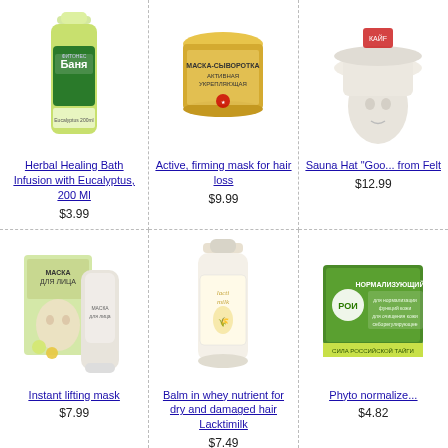[Figure (photo): Herbal Healing Bath Infusion with Eucalyptus bottle, green and white label with Cyrillic text Баня]
Herbal Healing Bath Infusion with Eucalyptus, 200 Ml
$3.99
[Figure (photo): Active firming hair mask in a gold/yellow round container with Cyrillic label]
Active, firming mask for hair loss
$9.99
[Figure (photo): Sauna Hat Goodtime from Felt, white felt hat on a mannequin head]
Sauna Hat "Goo... from Felt
$12.99
[Figure (photo): Instant lifting mask box and tube with face cream, Маска для лица Cyrillic text on packaging]
Instant lifting mask
$7.99
[Figure (photo): Lacktimilk balm bottle in white with label, hair product]
Balm in whey nutrient for dry and damaged hair Lacktimilk
$7.49
[Figure (photo): Phyto normalizing product with green packaging and Cyrillic text НОРМАЛИЗУЮЩИЙ]
Phyto normalize...
$4.82